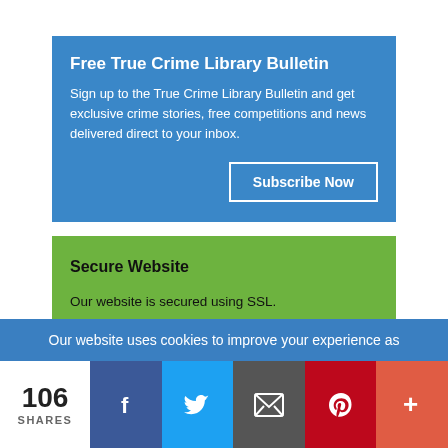Free True Crime Library Bulletin
Sign up to the True Crime Library Bulletin and get exclusive crime stories, free competitions and news delivered direct to your inbox.
Subscribe Now
Secure Website
Our website is secured using SSL.
Our website uses cookies to improve your experience as
106 SHARES